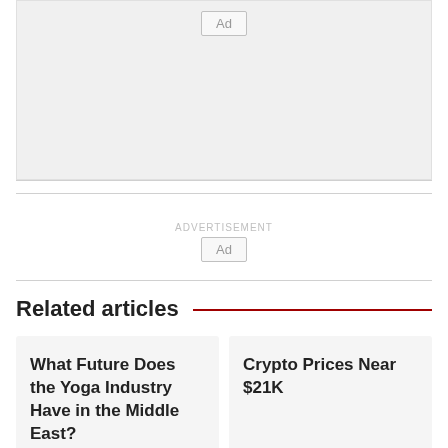[Figure (other): Advertisement placeholder block with 'Ad' label box]
[Figure (other): Advertisement placeholder with 'ADVERTISEMENT' text and 'Ad' label box]
Related articles
What Future Does the Yoga Industry Have in the Middle East?
Crypto Prices Near $21K